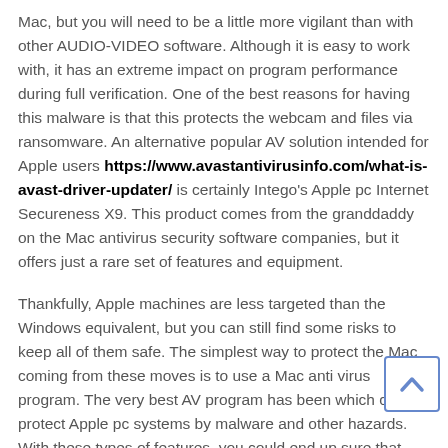Mac, but you will need to be a little more vigilant than with other AUDIO-VIDEO software. Although it is easy to work with, it has an extreme impact on program performance during full verification. One of the best reasons for having this malware is that this protects the webcam and files via ransomware. An alternative popular AV solution intended for Apple users https://www.avastantivirusinfo.com/what-is-avast-driver-updater/ is certainly Intego's Apple pc Internet Secureness X9. This product comes from the granddaddy on the Mac antivirus security software companies, but it offers just a rare set of features and equipment.
Thankfully, Apple machines are less targeted than the Windows equivalent, but you can still find some risks to keep all of them safe. The simplest way to protect the Mac coming from these moves is to use a Mac anti virus program. The very best AV program has been which can protect Apple pc systems by malware and other hazards. With these types of features, you could end up sure that your machine will probably be as safeguarded as possible and may perform because efficiently mainly because it should. The very best AV designed for Apple computers is